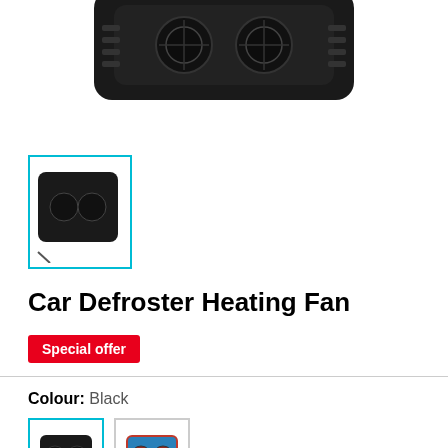[Figure (photo): Car defroster heating fan product photo showing a black fan device from above, cropped at top of page]
[Figure (photo): Small thumbnail of the product with cyan/teal border outline box]
Car Defroster Heating Fan
Special offer
Colour: Black
[Figure (photo): Two colour variant thumbnails of the car defroster fan - black and red versions, with black selected and highlighted with cyan border]